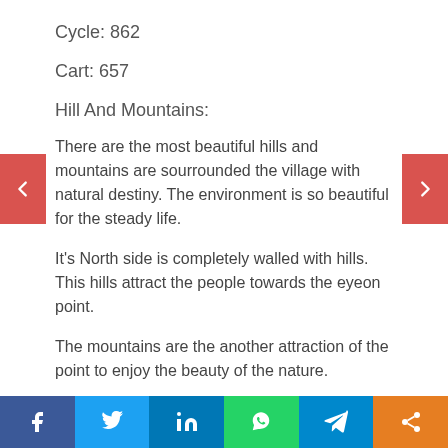Cycle: 862
Cart: 657
Hill And Mountains:
There are the most beautiful hills and mountains are sourrounded the village with natural destiny. The environment is so beautiful for the steady life.
It's North side is completely walled with hills. This hills attract the people towards the eyeon point.
The mountains are the another attraction of the point to enjoy the beauty of the nature.
f | Twitter | in | WhatsApp | Telegram | Share